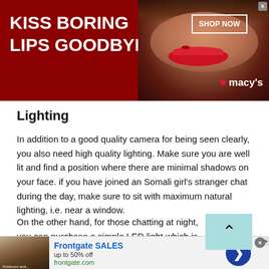[Figure (photo): Macy's advertisement banner with dark red background showing a woman's face with red lips. Left side shows text 'KISS BORING LIPS GOODBYE'. Right side shows 'SHOP NOW' button and Macy's star logo.]
Lighting
In addition to a good quality camera for being seen clearly, you also need high quality lighting. Make sure you are well lit and find a position where there are minimal shadows on your face. if you have joined an Somali girl's stranger chat during the day, make sure to sit with maximum natural lighting, i.e. near a window.
On the other hand, for those chatting at night, you can purchase a simple LED light which is not only cheap, but it
[Figure (screenshot): Frontgate SALES advertisement banner at bottom: image of outdoor furniture with fire pit, text 'Frontgate SALES up to 50% off frontgate.com' and blue circular arrow button.]